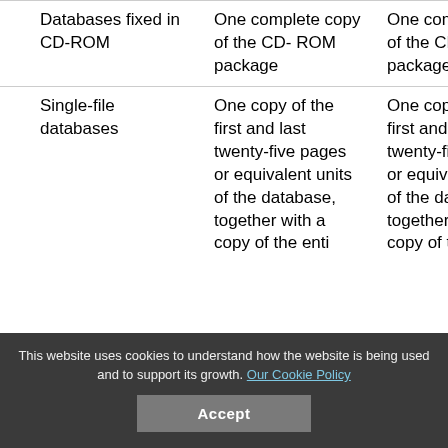| Databases fixed in CD-ROM | One complete copy of the CD- ROM package | One complete copy of the CD- ROM package |
| Single-file databases | One copy of the first and last twenty-five pages or equivalent units of the database, together with a copy of the enti... | One copy of the first and last twenty-five pages or equivalent units of the database, together with a copy of the enti... |
This website uses cookies to understand how the website is being used and to support its growth. Our Cookie Policy
Accept